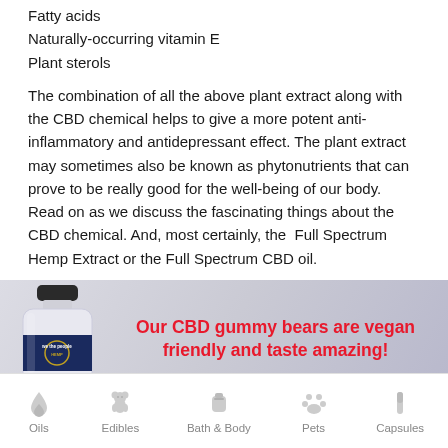Fatty acids
Naturally-occurring vitamin E
Plant sterols
The combination of all the above plant extract along with the CBD chemical helps to give a more potent anti-inflammatory and antidepressant effect. The plant extract may sometimes also be known as phytonutrients that can prove to be really good for the well-being of our body. Read on as we discuss the fascinating things about the CBD chemical. And, most certainly, the Full Spectrum Hemp Extract or the Full Spectrum CBD oil.
[Figure (photo): Advertisement banner showing a CBD gummy bear product bottle (We The People Hemp) on the left, with bold red text: 'Our CBD gummy bears are vegan friendly and taste amazing!' on a blurred light background.]
Oils   Edibles   Bath & Body   Pets   Capsules